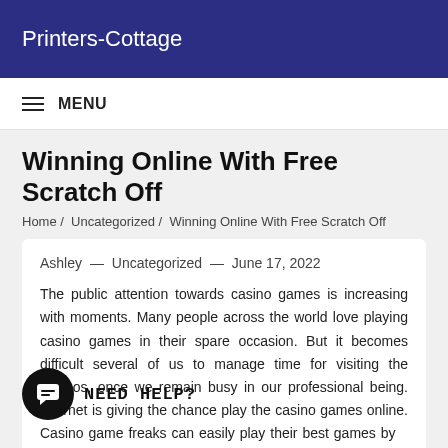Printers-Cottage
MENU
Winning Online With Free Scratch Off
Home / Uncategorized / Winning Online With Free Scratch Off
Ashley — Uncategorized — June 17, 2022
The public attention towards casino games is increasing with moments. Many people across the world love playing casino games in their spare occasion. But it becomes difficult several of us to manage time for visiting the casinos, once we remain busy in our professional being. Internet is giving the chance play the casino games online. Casino game freaks can easily play their best games by or rce site. It not only gives you entertainment but helps a person win deposit bonuses. It is great opportunity for the people who love to gamble. Are generally certain